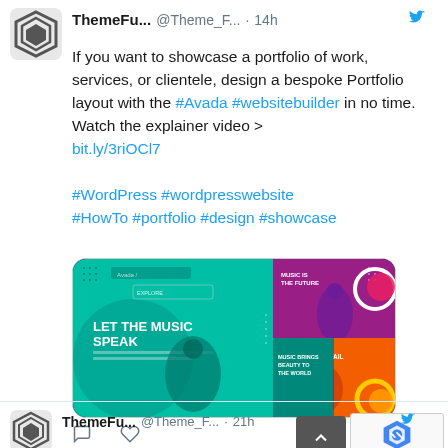[Figure (screenshot): Twitter/X profile avatar logo - hexagonal geometric design with overlapping diamond shapes]
ThemeFu... @Theme_F... · 14h
If you want to showcase a portfolio of work, services, or clientele, design a bespoke Portfolio layout with the #Avada #websitebuilder in no time. Watch the explainer video > bit.ly/3riOCl7

#WordPress #wordpresswebsite
#HowTo #portfolio #design #showcase
[Figure (screenshot): Screenshot of Avada website builder portfolio pages showing music-themed layouts with teal, purple, and orange designs, text reads LET THE MUSIC SPEAK]
ThemeFu... @Theme_F... · 21h